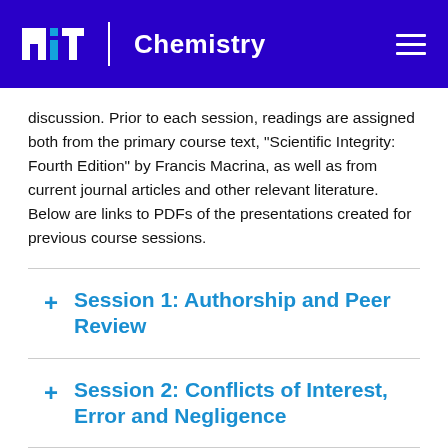MIT Chemistry
discussion. Prior to each session, readings are assigned both from the primary course text, “Scientific Integrity: Fourth Edition” by Francis Macrina, as well as from current journal articles and other relevant literature. Below are links to PDFs of the presentations created for previous course sessions.
Session 1: Authorship and Peer Review
Session 2: Conflicts of Interest, Error and Negligence